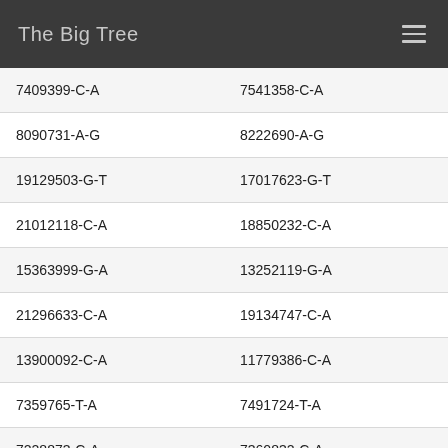The Big Tree
| 7409399-C-A | 7541358-C-A |
| 8090731-A-G | 8222690-A-G |
| 19129503-G-T | 17017623-G-T |
| 21012118-C-A | 18850232-C-A |
| 15363999-G-A | 13252119-G-A |
| 21296633-C-A | 19134747-C-A |
| 13900092-C-A | 11779386-C-A |
| 7359765-T-A | 7491724-T-A |
| 7228873-C-A | 7360832-C-A |
| 14406743-C-A | 12286041-C-A |
| 6971626-G-A | 7103585-G-A |